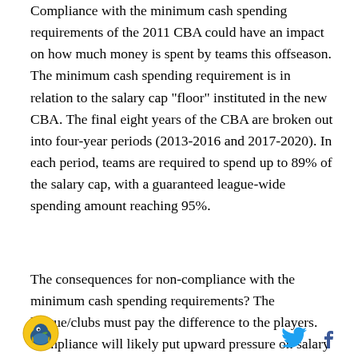Compliance with the minimum cash spending requirements of the 2011 CBA could have an impact on how much money is spent by teams this offseason. The minimum cash spending requirement is in relation to the salary cap "floor" instituted in the new CBA. The final eight years of the CBA are broken out into four-year periods (2013-2016 and 2017-2020). In each period, teams are required to spend up to 89% of the salary cap, with a guaranteed league-wide spending amount reaching 95%.
The consequences for non-compliance with the minimum cash spending requirements? The league/clubs must pay the difference to the players. Compliance will likely put upward pressure on salary
[Figure (logo): Circular logo with a bird illustration on yellow/gold background]